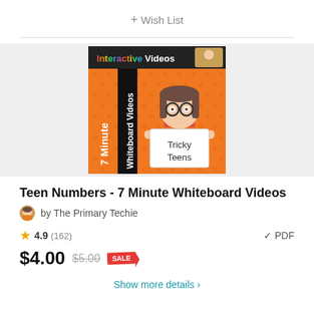+ Wish List
[Figure (illustration): Product thumbnail: orange background with polka dots, cartoon girl with glasses holding a sign reading 'Tricky Teens', text '7 Minute Whiteboard Videos' vertically, header 'Interactive Videos' in colorful text on black banner]
Teen Numbers - 7 Minute Whiteboard Videos
by The Primary Techie
4.9 (162)
✓ PDF
$4.00 $5.00 SALE
Show more details